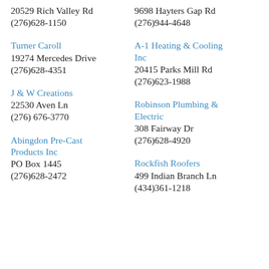20529 Rich Valley Rd
(276)628-1150
9698 Hayters Gap Rd
(276)944-4648
Turner Caroll
19274 Mercedes Drive
(276)628-4351
A-1 Heating & Cooling Inc
20415 Parks Mill Rd
(276)623-1988
J & W Creations
22530 Aven Ln
(276) 676-3770
Robinson Plumbing & Electric
308 Fairway Dr
(276)628-4920
Abingdon Pre-Cast Products Inc
PO Box 1445
(276)628-2472
Rockfish Roofers
499 Indian Branch Ln
(434)361-1218